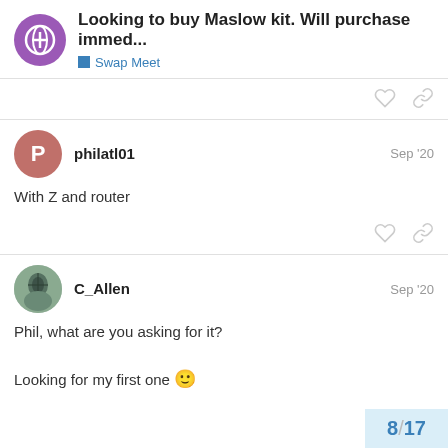Looking to buy Maslow kit. Will purchase immed... | Swap Meet
With Z and router
Phil, what are you asking for it?

Looking for my first one 🙂
8 / 17